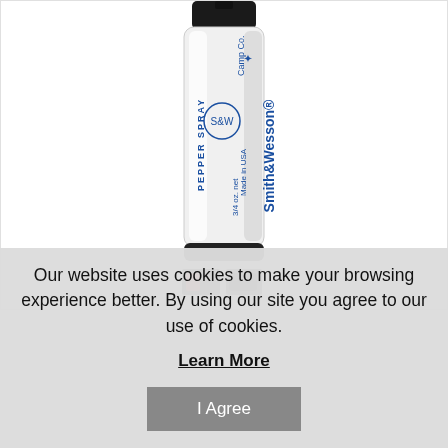[Figure (photo): Product photo of Smith & Wesson Camp Co. Pepper Spray canister, white cylindrical bottle with black cap, 3/4 oz. net, Made in USA. Two small thumbnail images of the product cap shown below the main image.]
Our website uses cookies to make your browsing experience better. By using our site you agree to our use of cookies.
Learn More
I Agree